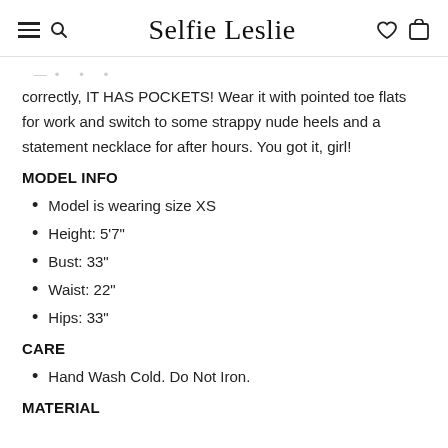Selfie Leslie
correctly, IT HAS POCKETS! Wear it with pointed toe flats for work and switch to some strappy nude heels and a statement necklace for after hours. You got it, girl!
MODEL INFO
Model is wearing size XS
Height: 5'7"
Bust: 33"
Waist: 22"
Hips: 33"
CARE
Hand Wash Cold. Do Not Iron.
MATERIAL